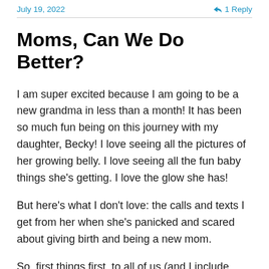July 19, 2022   1 Reply
Moms, Can We Do Better?
I am super excited because I am going to be a new grandma in less than a month! It has been so much fun being on this journey with my daughter, Becky! I love seeing all the pictures of her growing belly. I love seeing all the fun baby things she's getting. I love the glow she has!
But here's what I don't love: the calls and texts I get from her when she's panicked and scared about giving birth and being a new mom.
So, first things first, to all of us (and I include myself in all of this) moms: let's openly admit that none of us knew how to be a mom when we had our first baby. Maybe some of